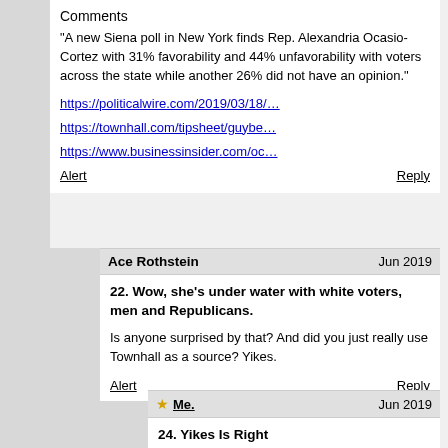Comments
“A new Siena poll in New York finds Rep. Alexandria Ocasio-Cortez with 31% favorability and 44% unfavorability with voters across the state while another 26% did not have an opinion.”
https://politicalwire.com/2019/03/18/…
https://townhall.com/tipsheet/guybe…
https://www.businessinsider.com/oc…
Alert    Reply
Ace Rothstein    Jun 2019
22. Wow, she’s under water with white voters, men and Republicans.

Is anyone surprised by that? And did you just really use Townhall as a source? Yikes.

Alert    Reply
★ Me.    Jun 2019
24. Yikes Is Right

Had no idea TownHall is a baddie but google and you'll